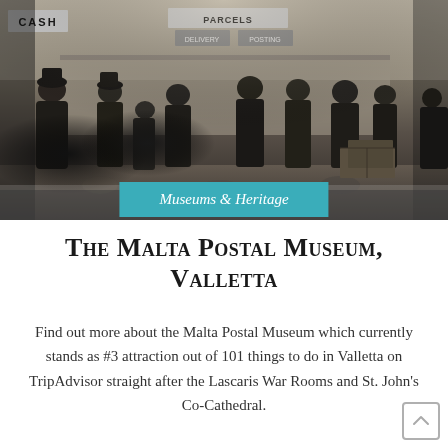[Figure (photo): Black and white historical photograph of people inside a post office with signs reading CASH and PARCELS DELIVERY / POSTING visible in the background. People are queuing and standing around the counter.]
Museums & Heritage
The Malta Postal Museum, Valletta
Find out more about the Malta Postal Museum which currently stands as #3 attraction out of 101 things to do in Valletta on TripAdvisor straight after the Lascaris War Rooms and St. John's Co-Cathedral.